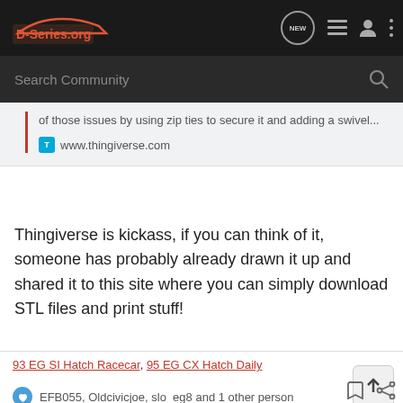[Figure (logo): D-Series.org logo with car silhouette on dark nav bar]
Search Community
of those issues by using zip ties to secure it and adding a swivel...
www.thingiverse.com
Thingiverse is kickass, if you can think of it, someone has probably already drawn it up and shared it to this site where you can simply download STL files and print stuff!
93 EG SI Hatch Racecar, 95 EG CX Hatch Daily
EFB055, Oldcivicjoe, slo_eg8 and 1 other person